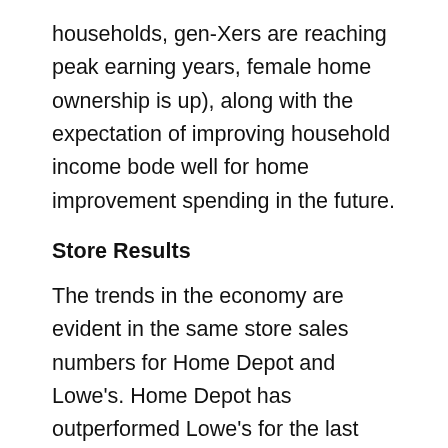households, gen-Xers are reaching peak earning years, female home ownership is up), along with the expectation of improving household income bode well for home improvement spending in the future.
Store Results
The trends in the economy are evident in the same store sales numbers for Home Depot and Lowe's. Home Depot has outperformed Lowe's for the last eight quarters (Exhibit 3). Home Depot has done this mostly through increased traffic. One of Home Depot's big initiatives was to